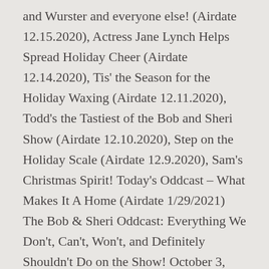and Wurster and everyone else! (Airdate 12.15.2020), Actress Jane Lynch Helps Spread Holiday Cheer (Airdate 12.14.2020), Tis' the Season for the Holiday Waxing (Airdate 12.11.2020), Todd's the Tastiest of the Bob and Sheri Show (Airdate 12.10.2020), Step on the Holiday Scale (Airdate 12.9.2020), Sam's Christmas Spirit! Today's Oddcast – What Makes It A Home (Airdate 1/29/2021) The Bob & Sheri Oddcast: Everything We Don't, Can't, Won't, and Definitely Shouldn't Do on the Show! October 3, 2019 Drew Lane. Kan de inte bara få göra det? Together they deliver a dynamic, irreverent, funny morning show. Bob & Sheri: Bob Lacey is the long suffering co-host of the syndicated "Bob and Sheri Show". The